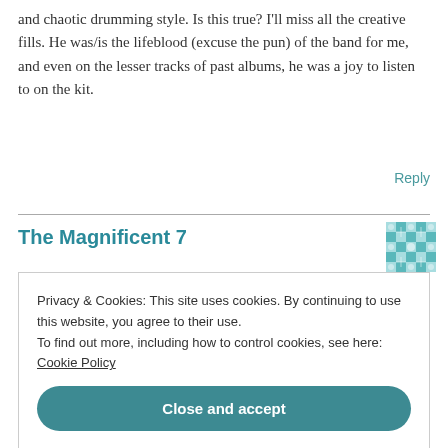and chaotic drumming style. Is this true? I'll miss all the creative fills. He was/is the lifeblood (excuse the pun) of the band for me, and even on the lesser tracks of past albums, he was a joy to listen to on the kit.
Reply
The Magnificent 7
Privacy & Cookies: This site uses cookies. By continuing to use this website, you agree to their use.
To find out more, including how to control cookies, see here: Cookie Policy
Close and accept
still enjoy many tracks on it. For me, Leviathan is their